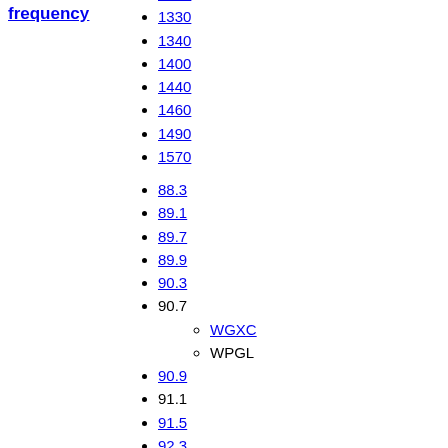frequency
1300
1330
1340
1400
1440
1460
1490
1570
88.3
89.1
89.7
89.9
90.3
90.7
WGXC
WPGL
90.9
91.1
91.5
92.3
93.5
93.7
94.5
95.5